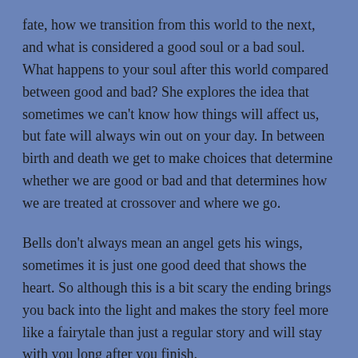fate, how we transition from this world to the next, and what is considered a good soul or a bad soul. What happens to your soul after this world compared between good and bad? She explores the idea that sometimes we can't know how things will affect us, but fate will always win out on your day. In between birth and death we get to make choices that determine whether we are good or bad and that determines how we are treated at crossover and where we go.
Bells don't always mean an angel gets his wings, sometimes it is just one good deed that shows the heart. So although this is a bit scary the ending brings you back into the light and makes the story feel more like a fairytale than just a regular story and will stay with you long after you finish.
I know this is a pretty short review, but I don't want to spoil the whole book for anyone because the details make